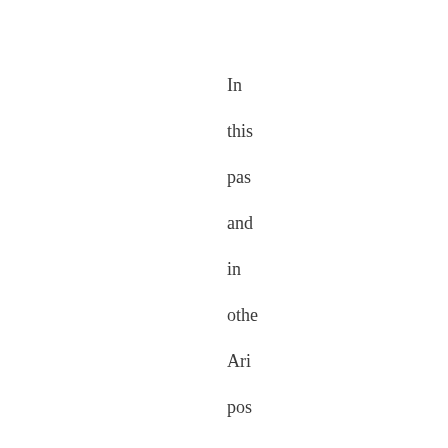In this pas and in othe Ari pos a kin of cau — the for son — that is pre: in both